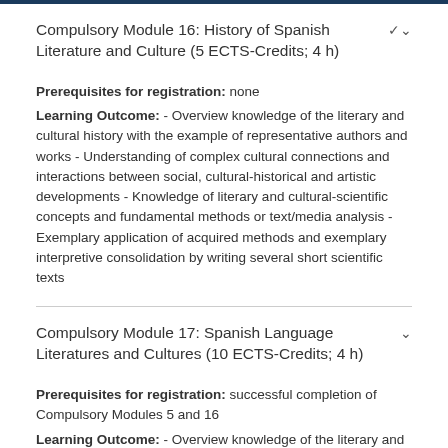Compulsory Module 16: History of Spanish Literature and Culture (5 ECTS-Credits; 4 h)
Prerequisites for registration: none Learning Outcome: - Overview knowledge of the literary and cultural history with the example of representative authors and works - Understanding of complex cultural connections and interactions between social, cultural-historical and artistic developments - Knowledge of literary and cultural-scientific concepts and fundamental methods or text/media analysis - Exemplary application of acquired methods and exemplary interpretive consolidation by writing several short scientific texts
Compulsory Module 17: Spanish Language Literatures and Cultures (10 ECTS-Credits; 4 h)
Prerequisites for registration: successful completion of Compulsory Modules 5 and 16 Learning Outcome: - Overview knowledge of the literary and cultural history with the example of representative authors